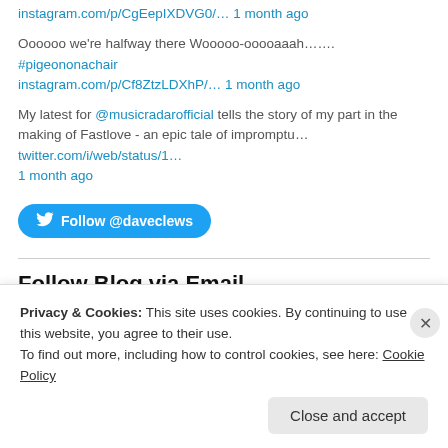instagram.com/p/CgEepIXDVG0/… 1 month ago
Oooooo we're halfway there Wooooo-ooooaaah……. #pigeononachair instagram.com/p/Cf8ZtzLDXhP/… 1 month ago
My latest for @musicradarofficial tells the story of my part in the making of Fastlove - an epic tale of impromptu… twitter.com/i/web/status/1… 1 month ago
[Figure (other): Twitter Follow button: Follow @daveclews]
Follow Blog via Email
Privacy & Cookies: This site uses cookies. By continuing to use this website, you agree to their use. To find out more, including how to control cookies, see here: Cookie Policy
Close and accept